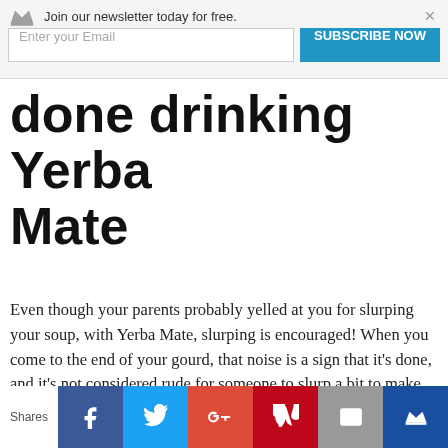Join our newsletter today for free. Enter your Email SUBSCRIBE NOW
done drinking Yerba Mate
Even though your parents probably yelled at you for slurping your soup, with Yerba Mate, slurping is encouraged! When you come to the end of your gourd, that noise is a sign that it's done, and it's not considered rude for someone to slurp a bit to make sure they've fully drained the gourd. So, don't be shy and slurp away.
Shares [Facebook] [Twitter] [G+] [Pinterest] [Email] [Crown]